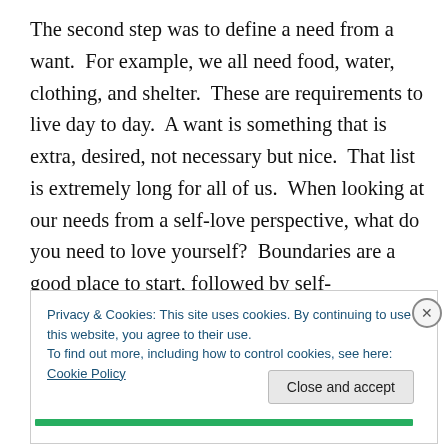The second step was to define a need from a want.  For example, we all need food, water, clothing, and shelter.  These are requirements to live day to day.  A want is something that is extra, desired, not necessary but nice.  That list is extremely long for all of us.  When looking at our needs from a self-love perspective, what do you need to love yourself?  Boundaries are a good place to start, followed by self-compassion, and good self-care.  Owning your story instead of blaming others is also essential.
Privacy & Cookies: This site uses cookies. By continuing to use this website, you agree to their use.
To find out more, including how to control cookies, see here: Cookie Policy
Close and accept